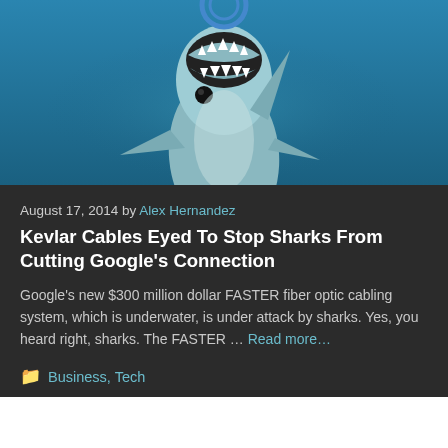[Figure (photo): Photograph of a shark swimming upward with mouth open showing teeth, against a blue underwater background]
August 17, 2014 by Alex Hernandez
Kevlar Cables Eyed To Stop Sharks From Cutting Google’s Connection
Google’s new $300 million dollar FASTER fiber optic cabling system, which is underwater, is under attack by sharks. Yes, you heard right, sharks. The FASTER … Read more…
Business, Tech